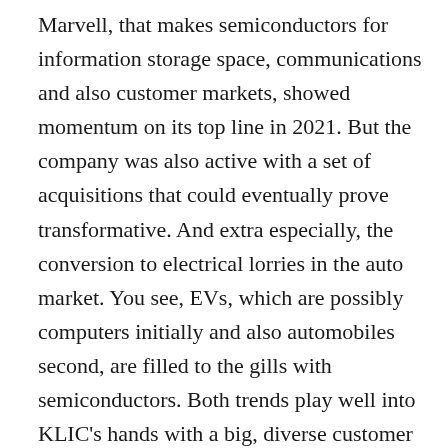Marvell, that makes semiconductors for information storage space, communications and also customer markets, showed momentum on its top line in 2021. But the company was also active with a set of acquisitions that could eventually prove transformative. And extra especially, the conversion to electrical lorries in the auto market. You see, EVs, which are possibly computers initially and also automobiles second, are filled to the gills with semiconductors. Both trends play well into KLIC’s hands with a big, diverse customer base as well as a management setting in the auto market. The adjustment to the “changed” profits per share came from removing an one-time tax advantage of $395 million with maneuvers connected to the